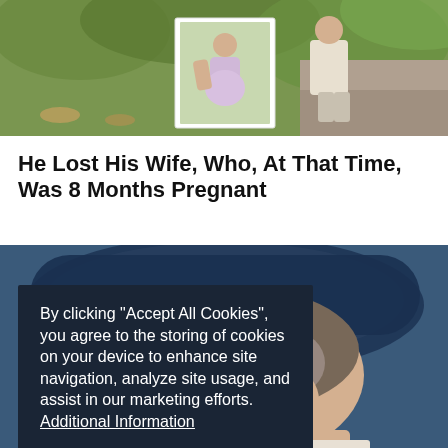[Figure (photo): Photo of a man kneeling outdoors on a gravel path, holding up a photograph of a pregnant woman in a lavender dress. Background shows green foliage and fallen leaves.]
He Lost His Wife, Who, At That Time, Was 8 Months Pregnant
[Figure (photo): Close-up photo of a woman with curly gray and brown hair leaning back at a hair salon wash basin, eyes closed, with a blue/teal basin visible behind her head.]
By clicking "Accept All Cookies", you agree to the storing of cookies on your device to enhance site navigation, analyze site usage, and assist in our marketing efforts. Additional Information
Accept All | Cookies Settings